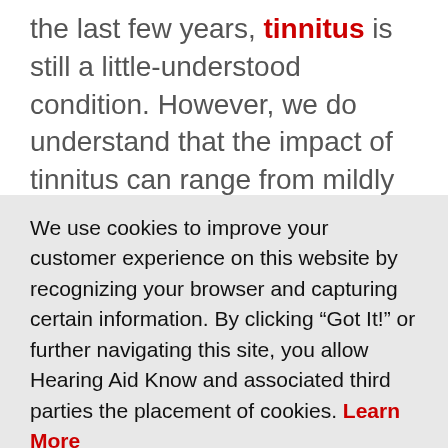the last few years, tinnitus is still a little-understood condition. However, we do understand that the impact of tinnitus can range from mildly irritating to devastating. While an effective cure has evaded medical science, we do know that there are several treatments that can work very effectively. One
We use cookies to improve your customer experience on this website by recognizing your browser and capturing certain information. By clicking “Got It!” or further navigating this site, you allow Hearing Aid Know and associated third parties the placement of cookies. Learn More